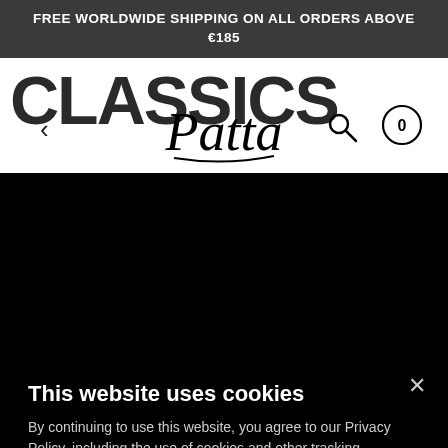FREE WORLDWIDE SHIPPING ON ALL ORDERS ABOVE €185
[Figure (screenshot): Website navigation bar with 'CLASSICS' text partially visible at top left, Patta cursive logo centered, back arrow on left, search icon and cart icon (showing 0) on right]
This website uses cookies
By continuing to use this website, you agree to our Privacy Policy, including the use of cookies and other tracking technologies. We do not sell or share your information with anyone else. Privacy Policy